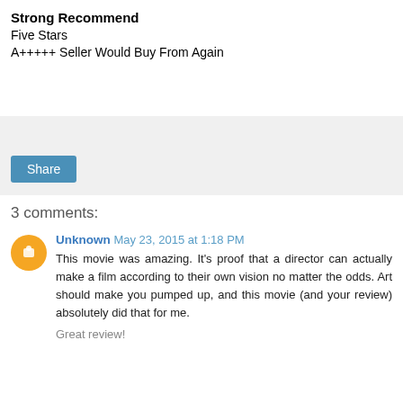Strong Recommend
Five Stars
A+++++ Seller Would Buy From Again
[Figure (other): Share button area with light gray background]
3 comments:
Unknown May 23, 2015 at 1:18 PM
This movie was amazing. It's proof that a director can actually make a film according to their own vision no matter the odds. Art should make you pumped up, and this movie (and your review) absolutely did that for me.
Great review!